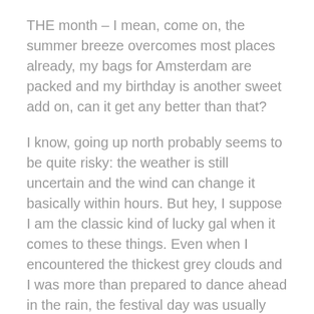THE month – I mean, come on, the summer breeze overcomes most places already, my bags for Amsterdam are packed and my birthday is another sweet add on, can it get any better than that?
I know, going up north probably seems to be quite risky: the weather is still uncertain and the wind can change it basically within hours. But hey, I suppose I am the classic kind of lucky gal when it comes to these things. Even when I encountered the thickest grey clouds and I was more than prepared to dance ahead in the rain, the festival day was usually just a blue and bright sky. Amsterdam is a place close to my heart, it offers enough variety to any person that visits and in my case, plenty of electronic music venues. And by the end of May, the real fun starts here. The summer festival knocks at everybody's door and does